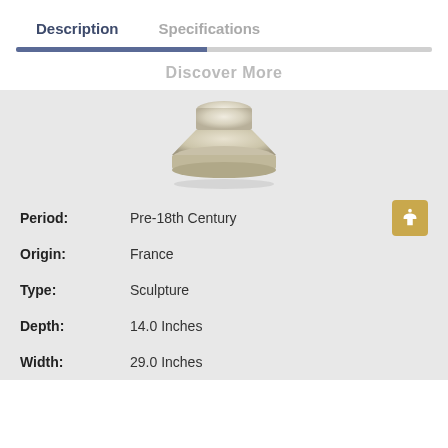Description
Specifications
Discover More
[Figure (photo): Bottom portion of a white/cream colored classical sculpture base or pedestal, shown against a light gray background]
| Period: | Pre-18th Century |
| Origin: | France |
| Type: | Sculpture |
| Depth: | 14.0 Inches |
| Width: | 29.0 Inches |